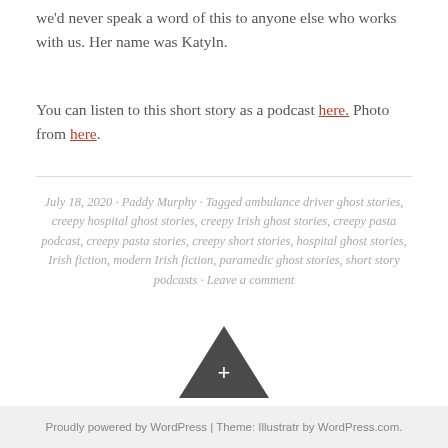we'd never speak a word of this to anyone else who works with us. Her name was Katyln.
You can listen to this short story as a podcast here. Photo from here.
July 18, 2020 · Paddy Murphy · Tagged ambulance driver ghost stories, creepy hospital ghost stories, creepy Irish ghost stories, creepy pasta podcast, creepy pasta stories, creepy short stories, hospital ghost stories, Irish fiction, modern Irish fiction, paramedic ghost stories, short story podcasts · Leave a comment
Proudly powered by WordPress | Theme: Illustratr by WordPress.com.